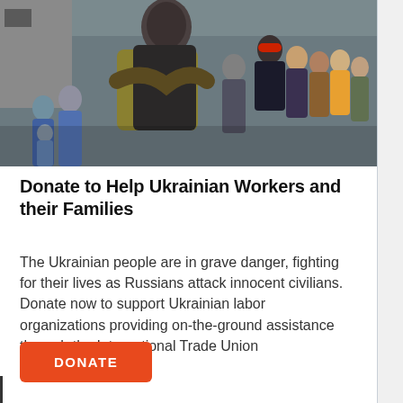[Figure (photo): People embracing and a crowd gathered outdoors in cold weather, some wearing winter coats and masks.]
Donate to Help Ukrainian Workers and their Families
The Ukrainian people are in grave danger, fighting for their lives as Russians attack innocent civilians. Donate now to support Ukrainian labor organizations providing on-the-ground assistance through the International Trade Union Confederation.
DONATE